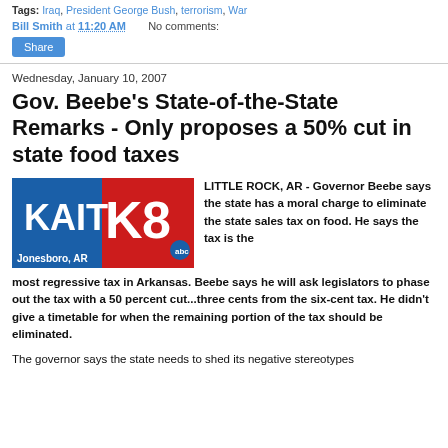Tags: Iraq, President George Bush, terrorism, War
Bill Smith at 11:20 AM   No comments:
Share
Wednesday, January 10, 2007
Gov. Beebe's State-of-the-State Remarks - Only proposes a 50% cut in state food taxes
[Figure (logo): KAIT K8 ABC Jonesboro, AR television station logo]
LITTLE ROCK, AR - Governor Beebe says the state has a moral charge to eliminate the state sales tax on food. He says the tax is the most regressive tax in Arkansas. Beebe says he will ask legislators to phase out the tax with a 50 percent cut...three cents from the six-cent tax. He didn't give a timetable for when the remaining portion of the tax should be eliminated.
The governor says the state needs to shed its negative stereotypes